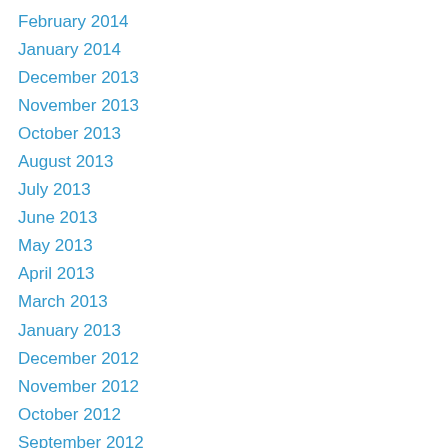February 2014
January 2014
December 2013
November 2013
October 2013
August 2013
July 2013
June 2013
May 2013
April 2013
March 2013
January 2013
December 2012
November 2012
October 2012
September 2012
August 2012
July 2012
June 2012
May 2012